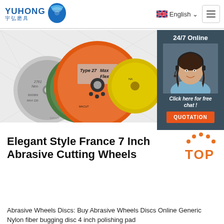YUHONG 宇弘磨具 | English | Menu
[Figure (photo): Product photo of abrasive cutting wheel discs including an orange Type 27 Max Flex disc, a green disc, and a grey disc arranged overlapping, on a light grey background with cross/diamond decorative pattern]
[Figure (photo): 24/7 Online chat panel showing a woman with headset smiling, with 'Click here for free chat!' text and an orange QUOTATION button]
Elegant Style France 7 Inch Abrasive Cutting Wheels
[Figure (illustration): TOP badge icon with orange dots forming an arch over the word TOP in orange]
Abrasive Wheels Discs: Buy Abrasive Wheels Discs Online Generic Nylon fiber bugging disc 4 inch polishing pad